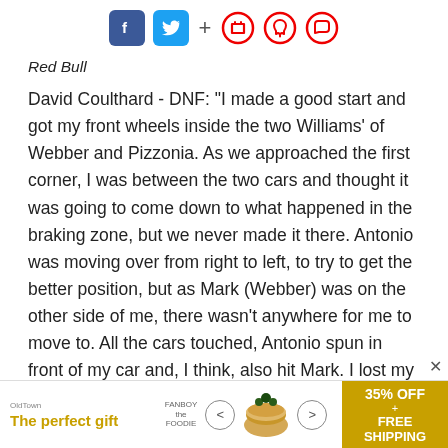Social share bar with Facebook, Twitter, plus, bookmark, bell, and comment icons
Red Bull
David Coulthard - DNF: "I made a good start and got my front wheels inside the two Williams' of Webber and Pizzonia. As we approached the first corner, I was between the two cars and thought it was going to come down to what happened in the braking zone, but we never made it there. Antonio was moving over from right to left, to try to get the better position, but as Mark (Webber) was on the other side of me, there wasn't anywhere for me to move to. All the cars touched, Antonio spun in front of my car and, I think, also hit Mark. I lost my front right wheel and that was
[Figure (infographic): Advertisement banner: The perfect gift - 35% OFF + FREE SHIPPING with product carousel]